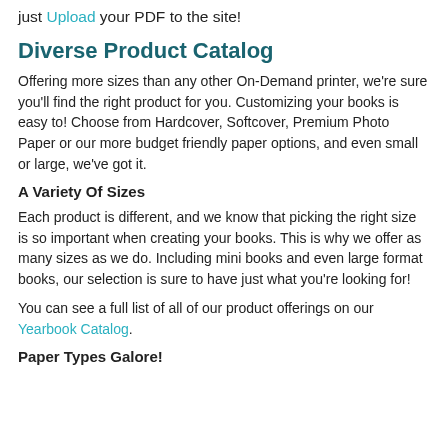just Upload your PDF to the site!
Diverse Product Catalog
Offering more sizes than any other On-Demand printer, we're sure you'll find the right product for you. Customizing your books is easy to! Choose from Hardcover, Softcover, Premium Photo Paper or our more budget friendly paper options, and even small or large, we've got it.
A Variety Of Sizes
Each product is different, and we know that picking the right size is so important when creating your books. This is why we offer as many sizes as we do. Including mini books and even large format books, our selection is sure to have just what you're looking for!
You can see a full list of all of our product offerings on our Yearbook Catalog.
Paper Types Galore!